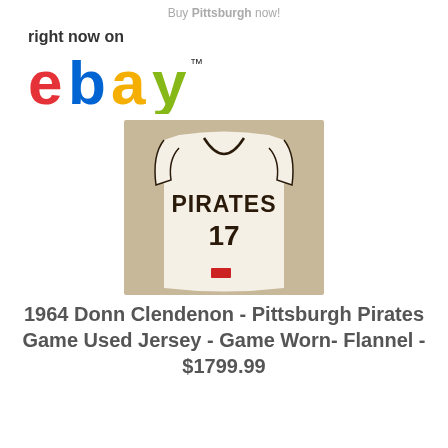Buy Pittsburgh now!
right now on
[Figure (logo): eBay logo in colorful letters: e (red), b (blue), a (yellow), y (green) with TM superscript]
[Figure (photo): Pittsburgh Pirates white flannel baseball jersey with number 17, PIRATES text across chest, sleeveless, displayed flat on a surface]
1964 Donn Clendenon - Pittsburgh Pirates Game Used Jersey - Game Worn- Flannel - $1799.99